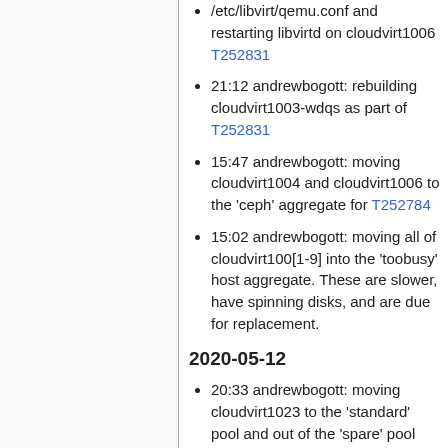/etc/libvirt/qemu.conf and restarting libvirtd on cloudvirt1006 T252831
21:12 andrewbogott: rebuilding cloudvirt1003-wdqs as part of T252831
15:47 andrewbogott: moving cloudvirt1004 and cloudvirt1006 to the 'ceph' aggregate for T252784
15:02 andrewbogott: moving all of cloudvirt100[1-9] into the 'toobusy' host aggregate. These are slower, have spinning disks, and are due for replacement.
2020-05-12
20:33 andrewbogott: moving cloudvirt1023 to the 'standard' pool and out of the 'spare' pool
19:10 jeh: disable neutron-openvswitch-agent service on